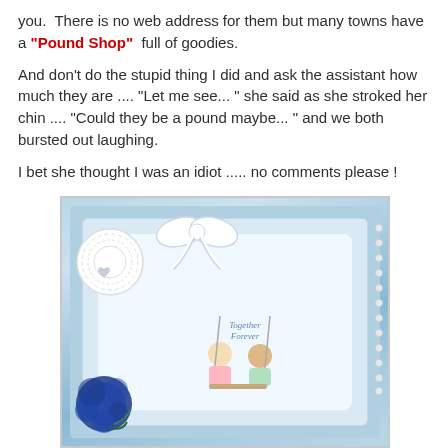you.  There is no web address for them but many towns have a "Pound Shop"  full of goodies.
And don't do the stupid thing I did and ask the assistant how much they are .... "Let me see... " she said as she stroked her chin .... "Could they be a pound maybe... " and we both bursted out laughing.
I bet she thought I was an idiot ..... no comments please !
[Figure (photo): A handmade greeting card with a light blue background, featuring a lace doily, white ribbon bow, a central illustration of two children sitting on a swing with text 'Together Forever', blue fabric flower decoration at the bottom left, and pearl embellishments on the right side.]